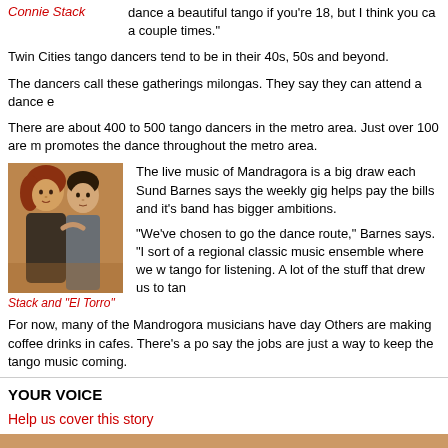Connie Stack
dance a beautiful tango if you're 18, but I think you can a couple times."
Twin Cities tango dancers tend to be in their 40s, 50s and beyond.
The dancers call these gatherings milongas. They say they can attend a dance e
There are about 400 to 500 tango dancers in the metro area. Just over 100 are m promotes the dance throughout the metro area.
[Figure (photo): Photo of Stack and El Torro, a couple dancing tango]
Stack and "El Torro"
The live music of Mandragora is a big draw each Sund Barnes says the weekly gig helps pay the bills and it's band has bigger ambitions.
"We've chosen to go the dance route," Barnes says. "I sort of a regional classic music ensemble where we w tango for listening. A lot of the stuff that drew us to tan
For now, many of the Mandrogora musicians have day Others are making coffee drinks in cafes. There's a po say the jobs are just a way to keep the tango music coming.
YOUR VOICE
Help us cover this story
Submit a commentary on this topic
Discuss this story with other people